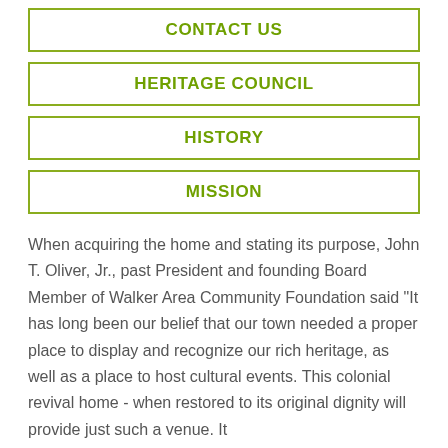CONTACT US
HERITAGE COUNCIL
HISTORY
MISSION
When acquiring the home and stating its purpose, John T. Oliver, Jr., past President and founding Board Member of Walker Area Community Foundation said "It has long been our belief that our town needed a proper place to display and recognize our rich heritage, as well as a place to host cultural events. This colonial revival home - when restored to its original dignity will provide just such a venue. It